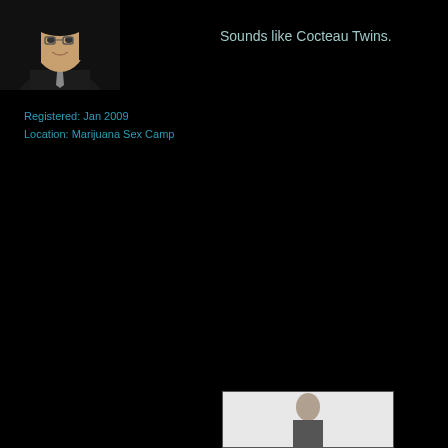[Figure (photo): Profile photo of a man with long dark hair wearing a dark suit, positioned in upper left corner]
Sounds like Cocteau Twins.
Registered: Jan 2009
Location: Marijuana Sex Camp
[Figure (photo): Another user photo partially visible at the bottom of the page]